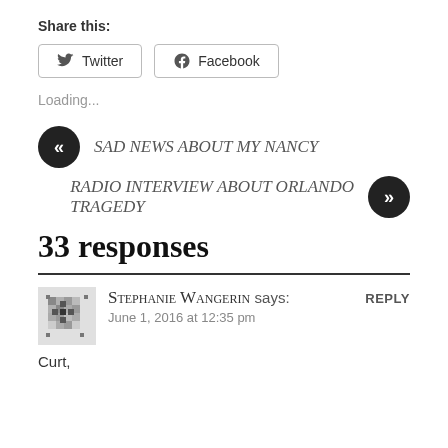Share this:
Twitter  Facebook
Loading...
« SAD NEWS ABOUT MY NANCY
RADIO INTERVIEW ABOUT ORLANDO TRAGEDY »
33 responses
Stephanie Wangerin says:  REPLY
June 1, 2016 at 12:35 pm
Curt,